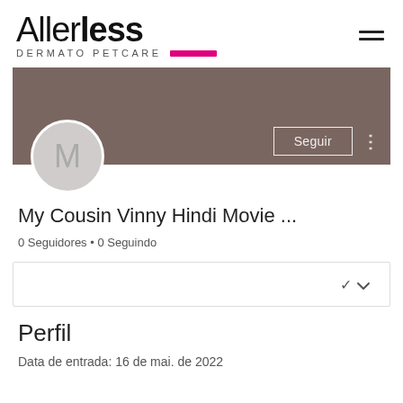[Figure (logo): Allerless Dermato Petcare logo with pink bar accent and hamburger menu icon]
[Figure (screenshot): User profile banner with brown background, avatar circle showing letter M, Seguir button, and three-dot menu]
My Cousin Vinny Hindi Movie ...
0 Seguidores • 0 Seguindo
[Figure (other): Dropdown selector box with chevron icon]
Perfil
Data de entrada: 16 de mai. de 2022